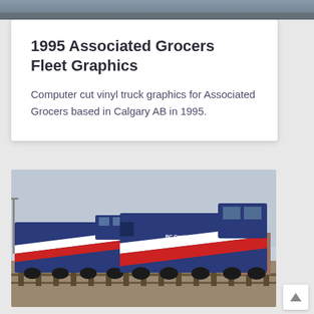[Figure (photo): Partial top strip showing a train or vehicle image, cropped at the top of the page]
1995 Associated Grocers Fleet Graphics
Computer cut vinyl truck graphics for Associated Grocers based in Calgary AB in 1995.
[Figure (photo): Photograph of blue train locomotives with red and white diagonal stripe graphics on a railway track, overcast sky in background]